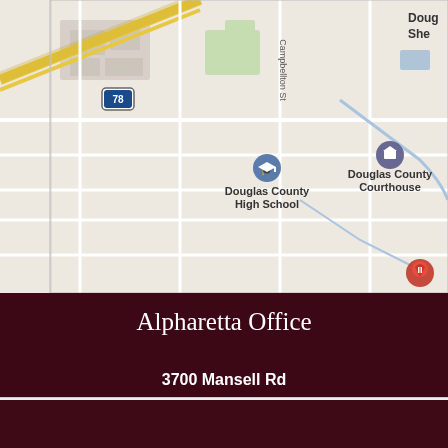[Figure (map): Google Maps screenshot showing Douglas County area with route 78, Douglas County High School, and Douglas County Courthouse landmarks visible]
Alpharetta Office
3700 Mansell Rd
#115
Alpharetta, GA 30022
678-825-6004
Get Directions
Home | TEXT | Phone | Menu